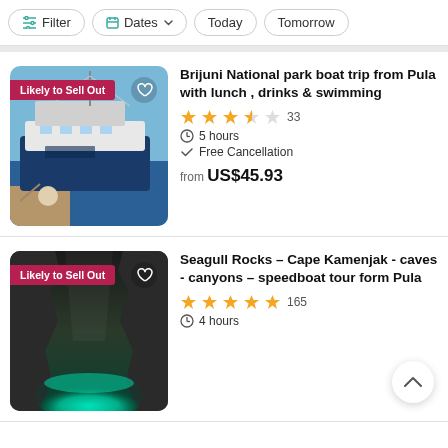Filter  Dates  Today  Tomorrow
[Figure (screenshot): Photo of a large white and blue boat docked at a marina, sunny day with blue sky]
Brijuni National park boat trip from Pula with lunch , drinks & swimming
3.5 stars  33
5 hours
Free Cancellation
from US$45.93
[Figure (screenshot): Photo of a sea cave with turquoise glowing water and rocky walls]
Seagull Rocks – Cape Kamenjak - caves - canyons – speedboat tour form Pula
5 stars  165
4 hours